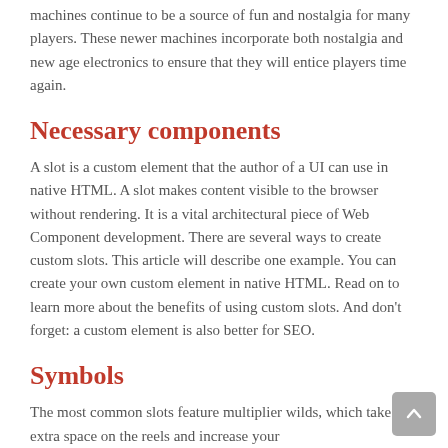machines continue to be a source of fun and nostalgia for many players. These newer machines incorporate both nostalgia and new age electronics to ensure that they will entice players time again.
Necessary components
A slot is a custom element that the author of a UI can use in native HTML. A slot makes content visible to the browser without rendering. It is a vital architectural piece of Web Component development. There are several ways to create custom slots. This article will describe one example. You can create your own custom element in native HTML. Read on to learn more about the benefits of using custom slots. And don't forget: a custom element is also better for SEO.
Symbols
The most common slots feature multiplier wilds, which take up extra space on the reels and increase your